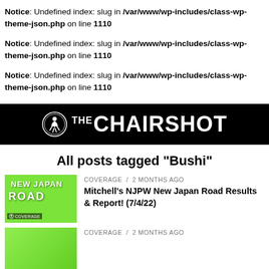Notice: Undefined index: slug in /var/www/wp-includes/class-wp-theme-json.php on line 1110
Notice: Undefined index: slug in /var/www/wp-includes/class-wp-theme-json.php on line 1110
Notice: Undefined index: slug in /var/www/wp-includes/class-wp-theme-json.php on line 1110
[Figure (logo): THE CHAIRSHOT logo on black background with circular wrestler icon]
All posts tagged "Bushi"
COVERAGE / 2 months ago
Mitchell's NJPW New Japan Road Results & Report! (7/4/22)
COVERAGE / 2 months ago